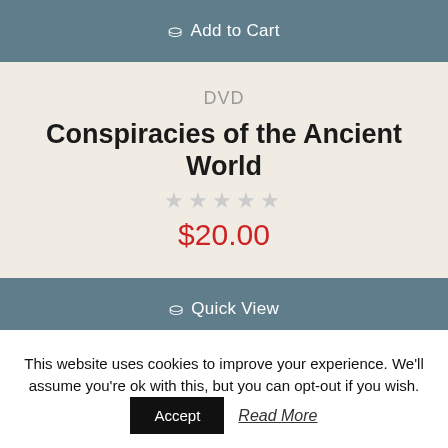Add to Cart
DVD
Conspiracies of the Ancient World
★★★★★
$20.00
Quick View
This website uses cookies to improve your experience. We'll assume you're ok with this, but you can opt-out if you wish.
Accept
Read More